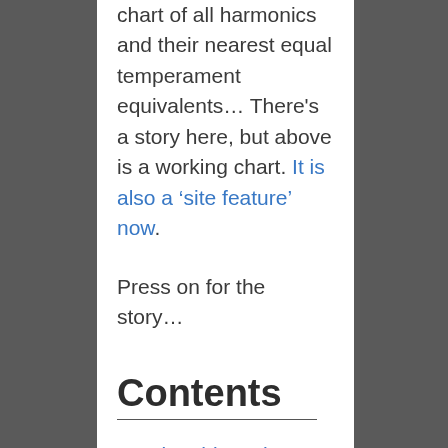chart of all harmonics and their nearest equal temperament equivalents… There's a story here, but above is a working chart. It is also a 'site feature' now.
Press on for the story…
Contents
Doing things the